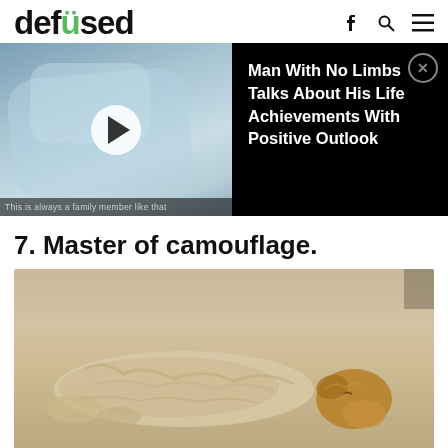defused
[Figure (screenshot): Video thumbnail showing person with blue blanket, with a play button overlay. An ad overlay panel on the right shows text: 'Man With No Limbs Talks About His Life Achievements With Positive Outlook' with a close (X) button.]
7. Master of camouflage.
[Figure (photo): Photo of a golden/cream-colored dog lying flat on a carpet of nearly identical color, making the dog blend in (camouflage effect). Only the dog's head on the right side is clearly visible.]